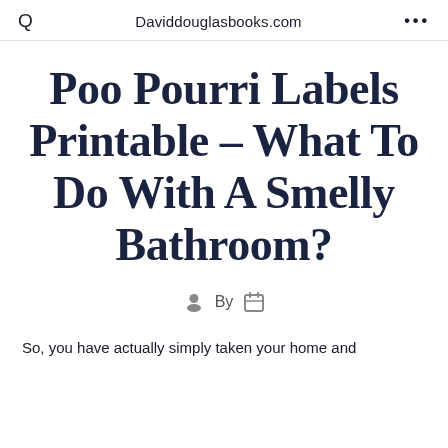Q  Daviddouglasbooks.com  ...
Poo Pourri Labels Printable – What To Do With A Smelly Bathroom?
By
So, you have actually simply taken your home and